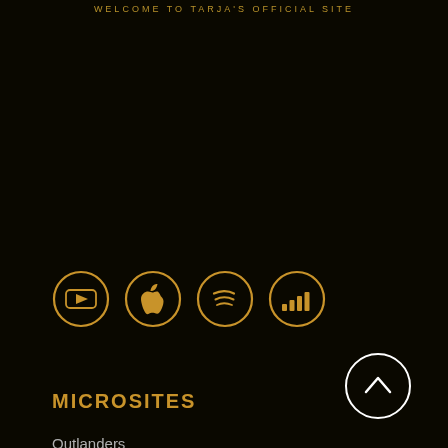WELCOME TO TARJA'S OFFICIAL SITE
[Figure (logo): Four gold circular icons in a row: YouTube, Apple Music, Spotify, and Deezer]
MICROSITES
Outlanders
In The Raw
Act II
from Spirits and Ghosts
The Shadow Self
Ave Maria
Luna Park Ride